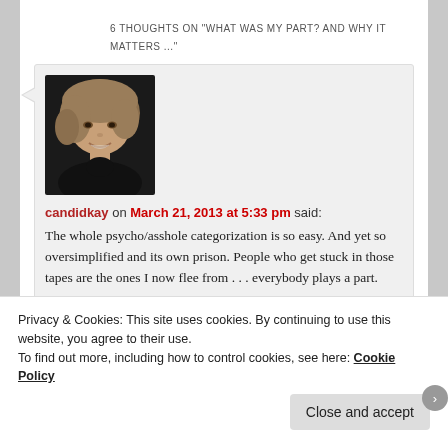6 THOUGHTS ON "WHAT WAS MY PART? AND WHY IT MATTERS ..."
[Figure (photo): Profile photo of a woman with short blonde bob hair wearing a black turtleneck, against a dark background]
candidkay on March 21, 2013 at 5:33 pm said:
The whole psycho/asshole categorization is so easy. And yet so oversimplified and its own prison. People who get stuck in those tapes are the ones I now flee from . . . everybody plays a part.
Reply ↓
Privacy & Cookies: This site uses cookies. By continuing to use this website, you agree to their use.
To find out more, including how to control cookies, see here: Cookie Policy
Close and accept